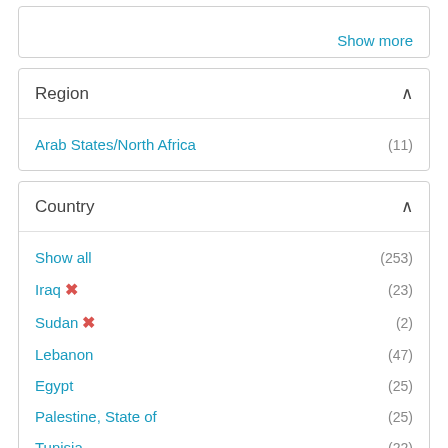Show more
Region
Arab States/North Africa (11)
Country
Show all (253)
Iraq ✕ (23)
Sudan ✕ (2)
Lebanon (47)
Egypt (25)
Palestine, State of (25)
Tunisia (22)
Jordan (21)
Libya (13)
Yemen (13)